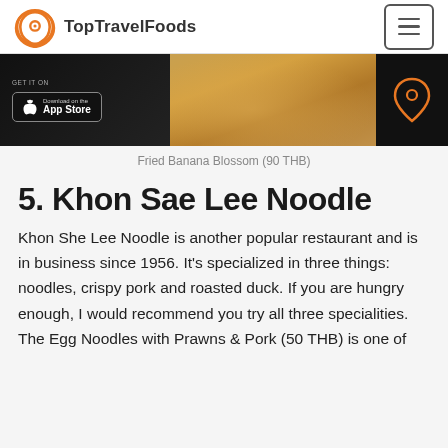TopTravelFoods
[Figure (photo): Banner image showing fried food on a plate with App Store download button overlay and location pin icon on dark background]
Fried Banana Blossom (90 THB)
5. Khon Sae Lee Noodle
Khon She Lee Noodle is another popular restaurant and is in business since 1956. It's specialized in three things: noodles, crispy pork and roasted duck. If you are hungry enough, I would recommend you try all three specialities. The Egg Noodles with Prawns & Pork (50 THB) is one of